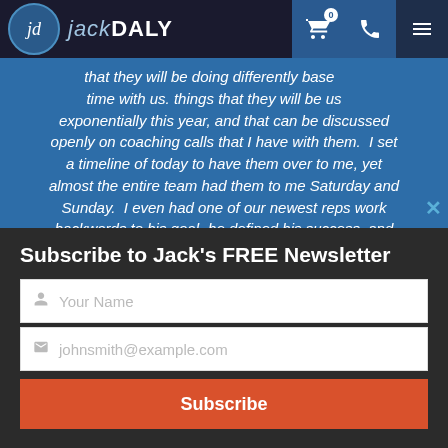Jack Daly - navigation bar with logo, cart (0), phone, and menu icons
that they will be doing differently based on time with us, things that they will be using exponentially this year, and that can be discussed openly on coaching calls that I have with them. I set a timeline of today to have them over to me, yet almost the entire team had them to me Saturday and Sunday. I even had one of our newest reps work backwards to his goal- he defined his success, and charted backwards to the present- and he did this while flying on his flight home early Saturday morning. I am really excited Jack. Your time with
Subscribe to Jack's FREE Newsletter
Your Name
johnsmith@example.com
Subscribe